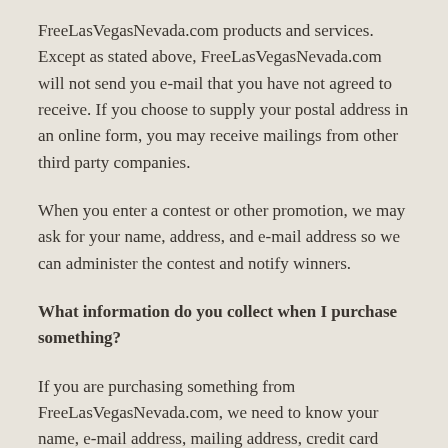FreeLasVegasNevada.com products and services. Except as stated above, FreeLasVegasNevada.com will not send you e-mail that you have not agreed to receive. If you choose to supply your postal address in an online form, you may receive mailings from other third party companies.
When you enter a contest or other promotion, we may ask for your name, address, and e-mail address so we can administer the contest and notify winners.
What information do you collect when I purchase something?
If you are purchasing something from FreeLasVegasNevada.com, we need to know your name, e-mail address, mailing address, credit card number and